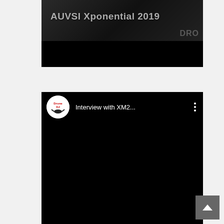[Figure (screenshot): Embedded video thumbnail showing 'AUVSI Xponential 2019' text overlay on dark background with drone equipment visible and 'DRO' watermark. Bottom portion is black (video player area).]
[Figure (screenshot): Embedded YouTube-style video player showing 'Interview with XM2...' title, channel avatar (DroneDJ logo), three-dot menu icon, and black video area below.]